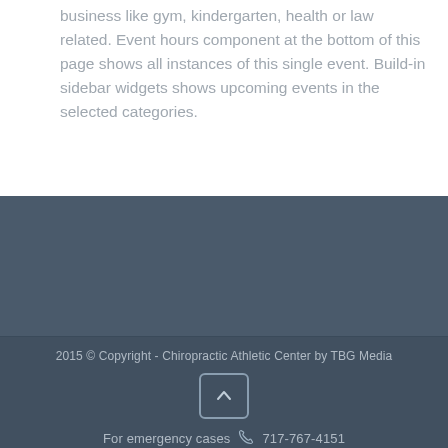business like gym, kindergarten, health or law related. Event hours component at the bottom of this page shows all instances of this single event. Build-in sidebar widgets shows upcoming events in the selected categories.
2015 © Copyright - Chiropractic Athletic Center by TBG Media
For emergency cases  717-767-4151